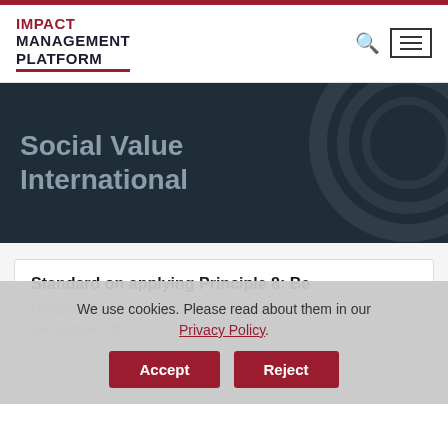IMPACT MANAGEMENT PLATFORM
[Figure (screenshot): Hero banner with dark teal background showing 'Social Value International' title and decorative circular arc pattern on the right]
Social Value International
Standard on applying Principle 8: Be Responsive
Last updated: 2022
We use cookies. Please read about them in our Privacy Policy.
Accept   Reject